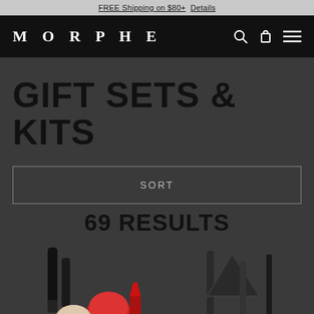FREE Shipping on $80+  Details
MORPHE
GIFT SETS & KITS
SORT
69 RESULTS
[Figure (photo): Partial product images of makeup cosmetics - lipsticks, mascaras, and makeup brushes shown cropped at the bottom of the screen]